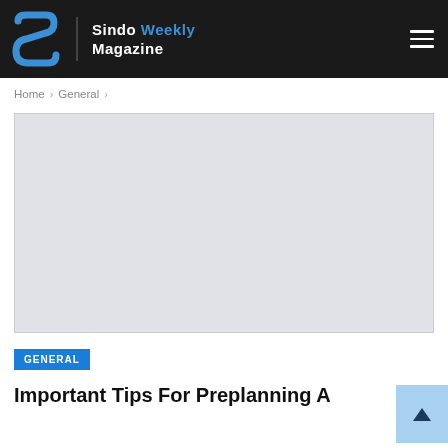Sindo Weekly Magazine
Home > General >
[Figure (photo): Large light gray image placeholder rectangle]
GENERAL
Important Tips For Preplanning A Funeral